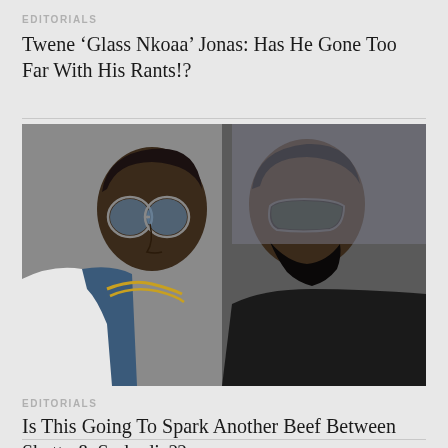EDITORIALS
Twene ‘Glass Nkoaa’ Jonas: Has He Gone Too Far With His Rants!?
[Figure (photo): Two men facing each other. On the left, a man wearing round blue-tinted sunglasses, a gold chain necklace, a white hoodie and blue jacket. On the right, a man with a beard wearing dark sunglasses and a black t-shirt. Both men appear in profile, facing each other.]
EDITORIALS
Is This Going To Spark Another Beef Between Shatta & Sarkodie??